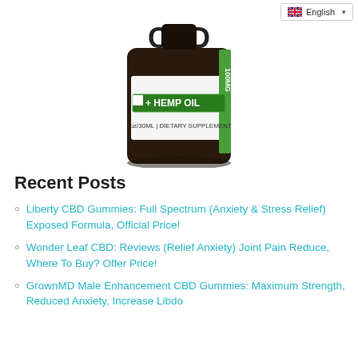[Figure (photo): CBD Hemp Oil bottle product photo showing a dark amber glass dropper bottle with label reading 'CBD + HEMP OIL 1oz/30ML DIETARY SUPPLEMENT 100MG'. An English language selector dropdown appears in the top right corner.]
Recent Posts
Liberty CBD Gummies: Full Spectrum (Anxiety & Stress Relief) Exposed Formula, Official Price!
Wonder Leaf CBD: Reviews (Relief Anxiety) Joint Pain Reduce, Where To Buy? Offer Price!
GrownMD Male Enhancement CBD Gummies: Maximum Strength, Reduced Anxiety, Increase Libdo